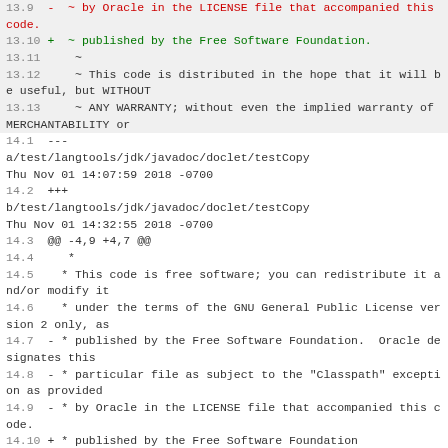13.9  -  ~ by Oracle in the LICENSE file that accompanied this code.
13.10 +  ~ published by the Free Software Foundation.
13.11      ~
13.12      ~ This code is distributed in the hope that it will be useful, but WITHOUT
13.13      ~ ANY WARRANTY; without even the implied warranty of MERCHANTABILITY or
14.1  ---
a/test/langtools/jdk/javadoc/doclet/testCopy Thu Nov 01 14:07:59 2018 -0700
14.2  +++
b/test/langtools/jdk/javadoc/doclet/testCopy Thu Nov 01 14:32:55 2018 -0700
14.3  @@ -4,9 +4,7 @@
14.4       *
14.5       * This code is free software; you can redistribute it and/or modify it
14.6       * under the terms of the GNU General Public License version 2 only, as
14.7  -  * published by the Free Software Foundation.  Oracle designates this
14.8  -  * particular file as subject to the "Classpath" exception as provided
14.9  -  * by Oracle in the LICENSE file that accompanied this code.
14.10 +  * published by the Free Software Foundation